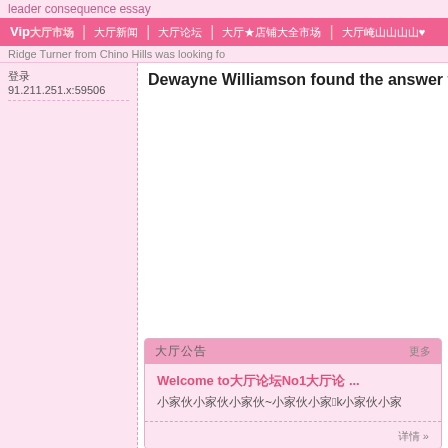leader consequence essay
Vip大厅市场 | 大厅新闻 | 大厅论坛 | 大厅★店铺大全市场 | 大厅崦山山山山♥
Ridge Turner from Chino Hills was looking fo
登录 91.211.251.x:59506
Dewayne Williamson found the answer to a sea
Welcome to大厅论坛No1大厅论 ...
小家伙候小家伙~小家伙小家2k小家伙小家
详情 »